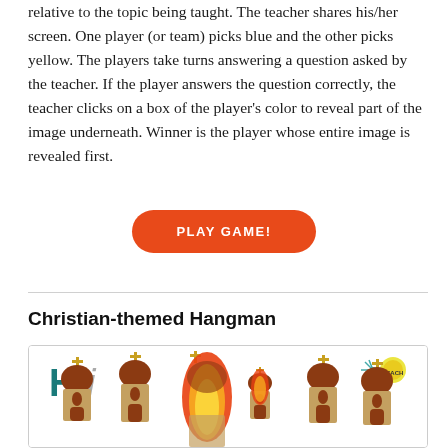relative to the topic being taught. The teacher shares his/her screen. One player (or team) picks blue and the other picks yellow. The players take turns answering a question asked by the teacher. If the player answers the question correctly, the teacher clicks on a box of the player's color to reveal part of the image underneath. Winner is the player whose entire image is revealed first.
PLAY GAME!
Christian-themed Hangman
[Figure (illustration): Screenshot of a Christian-themed Hangman game showing the letters 'Hi' in teal and gray, with illustrated church buildings featuring crosses and flames, set against a white background. A logo appears in the top right corner.]